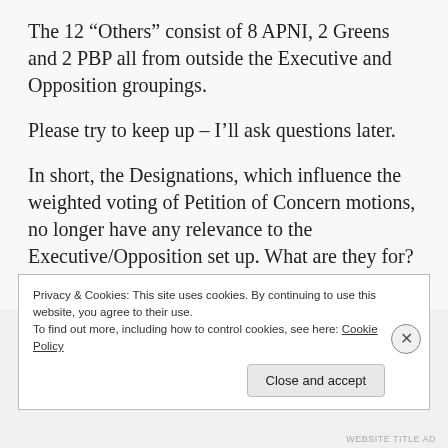The 12 “Others” consist of 8 APNI, 2 Greens and 2 PBP all from outside the Executive and Opposition groupings.
Please try to keep up – I’ll ask questions later.
In short, the Designations, which influence the weighted voting of Petition of Concern motions, no longer have any relevance to the Executive/Opposition set up. What are they for? Why do the larger parties not want to put
Privacy & Cookies: This site uses cookies. By continuing to use this website, you agree to their use.
To find out more, including how to control cookies, see here: Cookie Policy
Close and accept